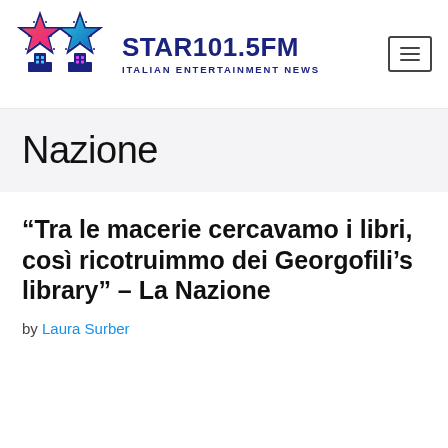[Figure (logo): STAR101.5FM Italian Entertainment News logo with two decorative stars (red and teal) on dark blue pedestals]
Nazione
“Tra le macerie cercavamo i libri, così ricotruimmo dei Georgofili’s library” – La Nazione
by Laura Surber